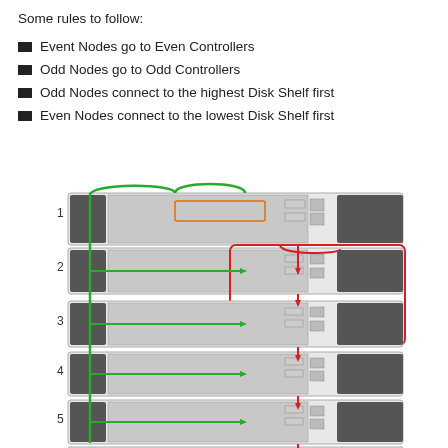Some rules to follow:
Event Nodes go to Even Controllers
Odd Nodes go to Odd Controllers
Odd Nodes connect to the highest Disk Shelf first
Even Nodes connect to the lowest Disk Shelf first
[Figure (engineering-diagram): Rack diagram showing 5 numbered disk shelves connected with green and red cables. Green cables loop from the top controller down through shelves 1-5. Red cables show connections between shelves 2-3 (highlighted with red rounded rectangle border) and continuing down through shelves 4-5. Shelf numbers 1 through 5 are labeled on the left, with a partial 6th shelf visible at the bottom.]